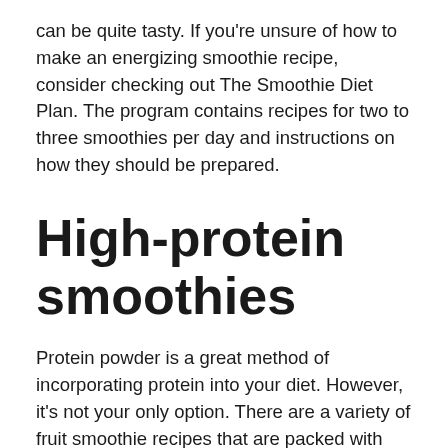can be quite tasty. If you're unsure of how to make an energizing smoothie recipe, consider checking out The Smoothie Diet Plan. The program contains recipes for two to three smoothies per day and instructions on how they should be prepared.
High-protein smoothies
Protein powder is a great method of incorporating protein into your diet. However, it's not your only option. There are a variety of fruit smoothie recipes that are packed with protein. Fruit smoothies are more protein-rich than protein powders. It can be difficult to find a healthy recipe